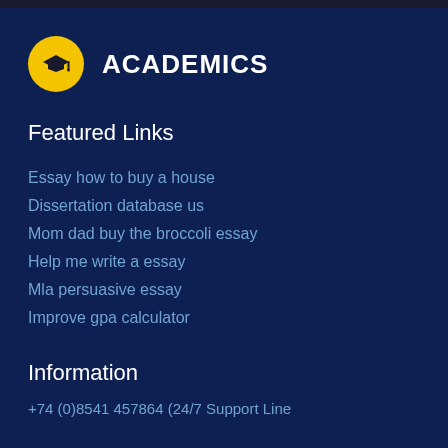[Figure (logo): Yellow circle with a graduation cap icon]
ACADEMICS
Featured Links
Essay how to buy a house
Dissertation database us
Mom dad buy the broccoli essay
Help me write a essay
Mla persuasive essay
Improve gpa calculator
Information
+74 (0)8541 457864 (24/7 Support Line